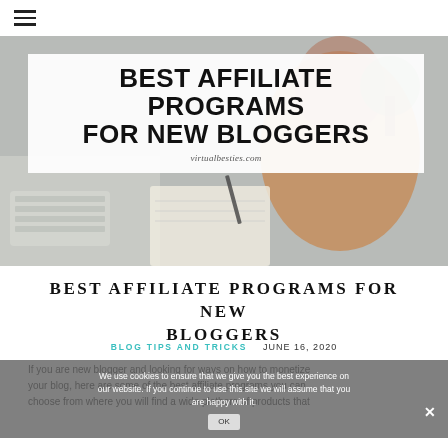☰
[Figure (photo): Blog post hero image showing a Black woman writing in a notebook at a desk with a keyboard and plant visible. Overlaid white box contains bold text: BEST AFFILIATE PROGRAMS FOR NEW BLOGGERS and website URL virtualbesties.com]
BEST AFFILIATE PROGRAMS FOR NEW BLOGGERS
BLOG TIPS AND TRICKS   JUNE 16, 2020
We use cookies to ensure that we give you the best experience on our website. If you continue to use this site we will assume that you are happy with it.  OK
If you are new blogger and looking for ways on how to monetize your blog, here are some of the best affiliate programs you can choose from where you will find a wide plethora of products that